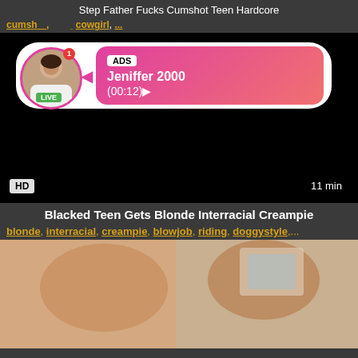Step Father Fucks Cumshot Teen Hardcore
cumshot, ... cowgirl, ...
[Figure (screenshot): Video player showing dark/black content with an advertisement overlay showing a live user profile (Jeniffer 2000, 00:12) with HD badge and 11 min duration]
Blacked Teen Gets Blonde Interracial Creampie
blonde, interracial, creampie, blowjob, riding, doggystyle,...
[Figure (photo): Partial thumbnail of a video]